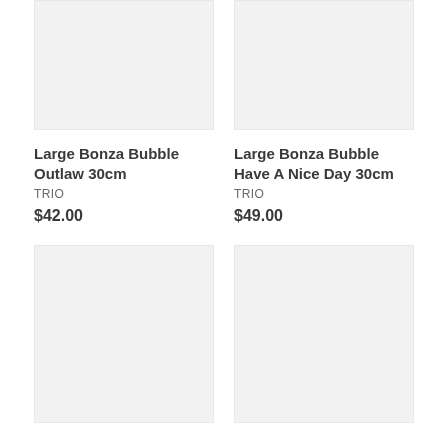[Figure (photo): Product image placeholder for Large Bonza Bubble Outlaw 30cm, light gray background]
Large Bonza Bubble Outlaw 30cm
TRIO
$42.00
[Figure (photo): Product image placeholder for Large Bonza Bubble Have A Nice Day 30cm, light gray background]
Large Bonza Bubble Have A Nice Day 30cm
TRIO
$49.00
[Figure (photo): Product image placeholder, lower left, light gray background]
[Figure (photo): Product image placeholder, lower right, light gray background]